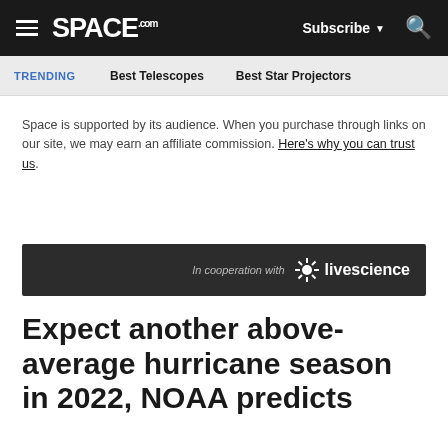SPACE.com — Subscribe — Search
TRENDING   Best Telescopes   Best Star Projectors
Space is supported by its audience. When you purchase through links on our site, we may earn an affiliate commission. Here's why you can trust us.
[Figure (other): In cooperation with Live Science banner]
Expect another above-average hurricane season in 2022, NOAA predicts